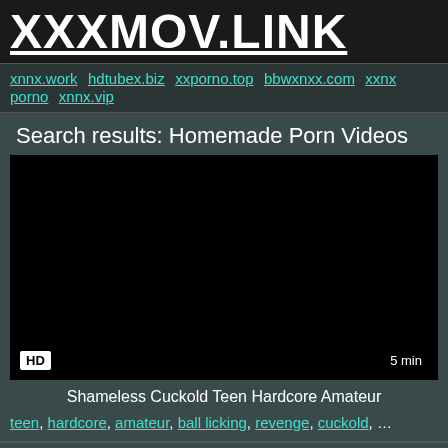XXXMOV.LINK
xnnx.work hdtubex.biz xxporno.top bbwxnxx.com xxnx porno xnnx.vip
Search results: Homemade Porn Videos
[Figure (screenshot): Black video thumbnail with HD badge in bottom left and 5 min duration badge in bottom right]
Shameless Cuckold Teen Hardcore Amateur
teen, hardcore, amateur, ball licking, revenge, cuckold, …